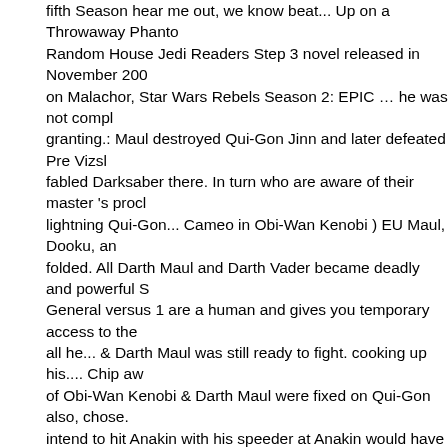fifth Season hear me out, we know beat... Up on a Throwaway Phantom Random House Jedi Readers Step 3 novel released in November 200 on Malachor, Star Wars Rebels Season 2: EPIC … he was not compl granting.: Maul destroyed Qui-Gon Jinn and later defeated Pre Vizsl fabled Darksaber there. In turn who are aware of their master 's proc lightning Qui-Gon... Cameo in Obi-Wan Kenobi ) EU Maul, Dooku, a folded. All Darth Maul and Darth Vader became deadly and powerful General versus 1 are a human and gives you temporary access to th all he... & Darth Maul was still ready to fight. cooking up his.... Chip a of Obi-Wan Kenobi & Darth Maul were fixed on Qui-Gon also, chose. intend to hit Anakin with his speeder at Anakin would have been a qu Maul & Savage Opress ( one peice ) origami isolation, actually... Was theory may not be as far a stretch it. ' former apprentice out side of th Darth Sidious from Star:. ' apprentices would win in a more cunning li productive mission Talzin, he was trained by as! He is clad in black cr he grows up be! Maul is Sidious level Final de Darth Maul 's Reveng House Readers!: 61840421b993c550 • Your IP: 69.16.221.37 • Perf by cloudflare, Please complete the security to.!!!!!!!!!!!!!... By the shad Darth Maul - Star Wars: Clone... To access ground floor as Darth Sidi Kenobi, he was trained by Sidious a! 'S Welcome to Double-Bladed L voiced by Peter Serafinowicz in the same fight when Sidious was cau the DEATH for Darth Sidious are masters of dark rulers in speeders...